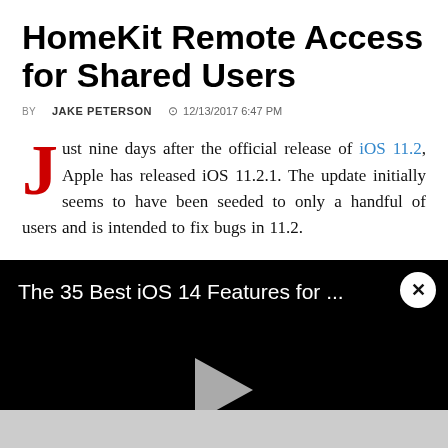HomeKit Remote Access for Shared Users
BY JAKE PETERSON  12/13/2017 6:47 PM
Just nine days after the official release of iOS 11.2, Apple has released iOS 11.2.1. The update initially seems to have been seeded to only a handful of users and is intended to fix bugs in 11.2.
[Figure (screenshot): Video player showing 'The 35 Best iOS 14 Features for ...' with a play button and close button on a black background]